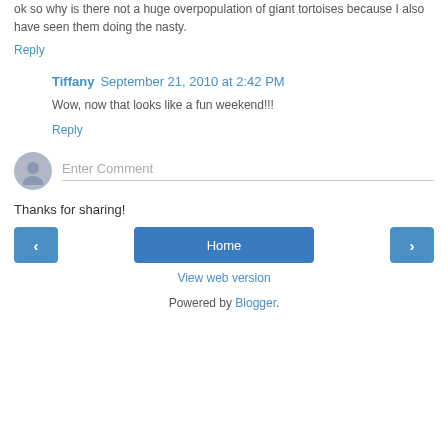ok so why is there not a huge overpopulation of giant tortoises because I also have seen them doing the nasty.
Reply
Tiffany  September 21, 2010 at 2:42 PM
Wow, now that looks like a fun weekend!!!
Reply
[Figure (other): Comment input field with user avatar placeholder and Enter Comment prompt]
Thanks for sharing!
< Home > navigation buttons
View web version
Powered by Blogger.